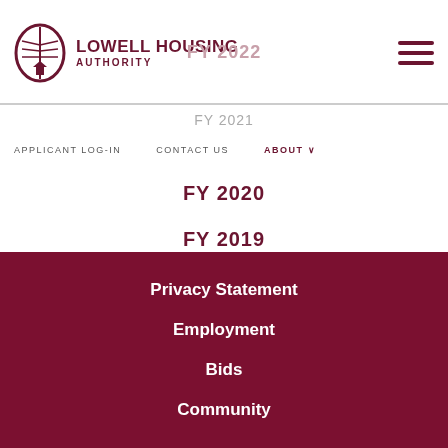LOWELL HOUSING AUTHORITY
FY 2022
APPLICANT LOG-IN   CONTACT US   ABOUT
FY 2021
FY 2020
FY 2019
FY 2018
Privacy Statement
Employment
Bids
Community